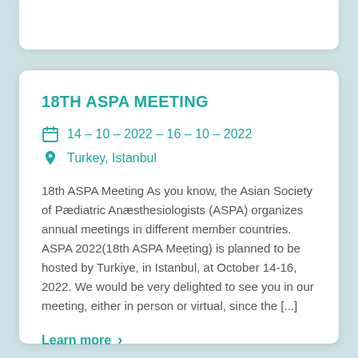18TH ASPA MEETING
14 – 10 – 2022 – 16 – 10 – 2022
Turkey, Istanbul
18th ASPA Meeting As you know, the Asian Society of Pædiatric Anæsthesiologists (ASPA) organizes annual meetings in different member countries. ASPA 2022(18th ASPA Meeting) is planned to be hosted by Turkiye, in Istanbul, at October 14-16, 2022. We would be very delighted to see you in our meeting, either in person or virtual, since the [...]
Learn more >